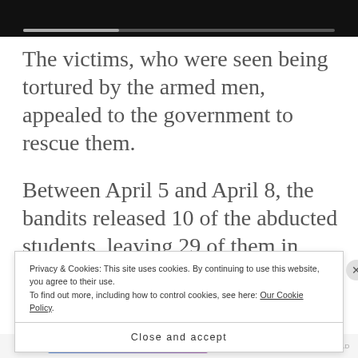[Figure (screenshot): Video player bar — dark background with a grey/white progress bar track near the bottom]
The victims, who were seen being tortured by the armed men, appealed to the government to rescue them.
Between April 5 and April 8, the bandits released 10 of the abducted students, leaving 29 of them in captivity.
Privacy & Cookies: This site uses cookies. By continuing to use this website, you agree to their use.
To find out more, including how to control cookies, see here: Our Cookie Policy
Close and accept